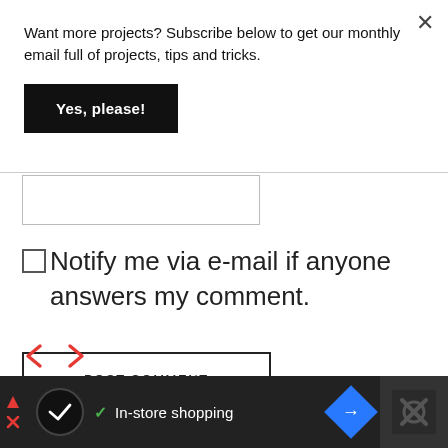Want more projects? Subscribe below to get our monthly email full of projects, tips and tricks.
Yes, please!
Notify me via e-mail if anyone answers my comment.
POST COMMENT
[Figure (screenshot): Bottom advertisement bar with logo, checkmark, 'In-store shopping' text, blue diamond arrow icon, and a dark panel with X icon on the right]
In-store shopping